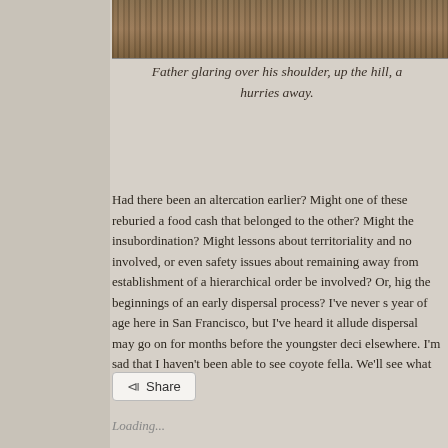[Figure (photo): Cropped wildlife/nature photograph showing dry grass or brush texture, top portion of image visible as a horizontal strip]
Father glaring over his shoulder, up the hill, a hurries away.
Had there been an altercation earlier? Might one of these reburied a food cash that belonged to the other? Might the insubordination? Might lessons about territoriality and no involved, or even safety issues about remaining away from establishment of a hierarchical order be involved? Or, hig the beginnings of an early dispersal process? I've never s year of age here in San Francisco, but I've heard it allude dispersal may go on for months before the youngster deci elsewhere. I'm sad that I haven't been able to see coyote fella. We'll see what happens.
Share
Loading...